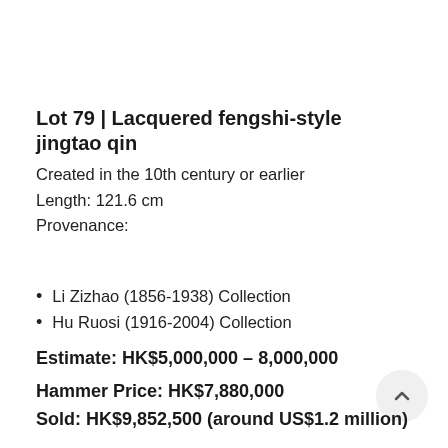Lot 79 | Lacquered fengshi-style jingtao qin
Created in the 10th century or earlier
Length: 121.6 cm
Provenance:
Li Zizhao (1856-1938) Collection
Hu Ruosi (1916-2004) Collection
Estimate: HK$5,000,000 – 8,000,000
Hammer Price: HK$7,880,000
Sold: HK$9,852,500 (around US$1.2 million)
The qin's body is gently tapered from the head to the tail with a multiple-recessed shoulder and waist